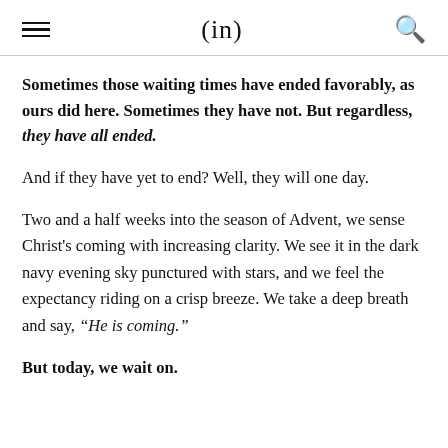(in)
Sometimes those waiting times have ended favorably, as ours did here. Sometimes they have not. But regardless, they have all ended.
And if they have yet to end? Well, they will one day.
Two and a half weeks into the season of Advent, we sense Christ's coming with increasing clarity. We see it in the dark navy evening sky punctured with stars, and we feel the expectancy riding on a crisp breeze. We take a deep breath and say, “He is coming.”
But today, we wait on.